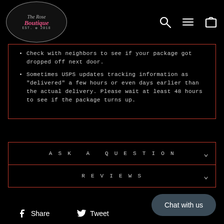[Figure (logo): The Rose Boutique logo, oval shaped with floral decoration, EST. 2018]
Check with neighbors to see if your package got dropped off next door.
Sometimes USPS updates tracking information as "delivered" a few hours or even days earlier than the actual delivery. Please wait at least 48 hours to see if the package turns up.
ASK A QUESTION
REVIEWS
Share
Tweet
Chat with us